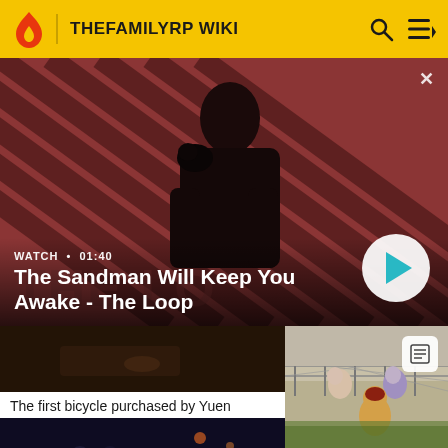THEFAMILYRP WIKI
[Figure (screenshot): Hero video banner for 'The Sandman Will Keep You Awake - The Loop' showing a pale man in black with a raven on shoulder against red diagonal stripe background. Duration: 01:40. Includes play button.]
WATCH • 01:40
The Sandman Will Keep You Awake - The Loop
[Figure (screenshot): Dark thumbnail of a bicycle scene]
The first bicycle purchased by Yuen
[Figure (screenshot): Dark scene thumbnail with figures outdoors at night]
[Figure (screenshot): Outdoor scene with people near a chain-link fence, daytime]